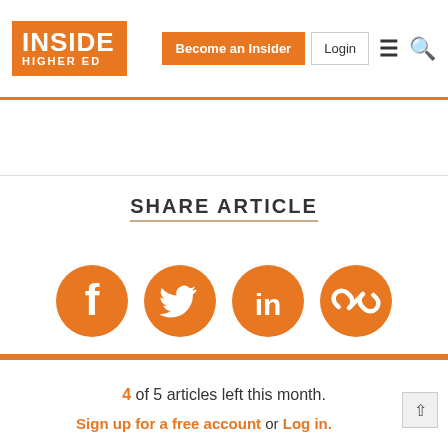INSIDE HIGHER ED | Become an Insider | Login
SHARE ARTICLE
[Figure (other): Social share icons: Facebook, Twitter, LinkedIn, Link/Copy]
4 of 5 articles left this month.
Sign up for a free account or Log in.